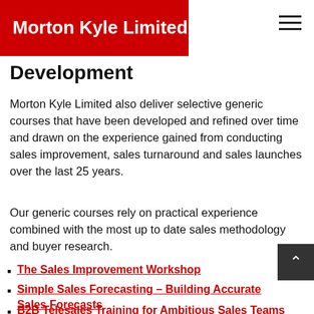Morton Kyle Limited
Development
Morton Kyle Limited also deliver selective generic courses that have been developed and refined over time and drawn on the experience gained from conducting sales improvement, sales turnaround and sales launches over the last 25 years.
Our generic courses rely on practical experience combined with the most up to date sales methodology and buyer research.
The Sales Improvement Workshop
Simple Sales Forecasting – Building Accurate Sales Forecasts
B2B Telesales Training for Ambitious Sales Teams